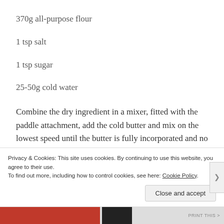370g all-purpose flour
1 tsp salt
1 tsp sugar
25-50g cold water
Combine the dry ingredient in a mixer, fitted with the paddle attachment, add the cold butter and mix on the lowest speed until the butter is fully incorporated and no large chunks remain. It should have the texture of course sand. Then slowly add the water till the dough just comes
Privacy & Cookies: This site uses cookies. By continuing to use this website, you agree to their use.
To find out more, including how to control cookies, see here: Cookie Policy